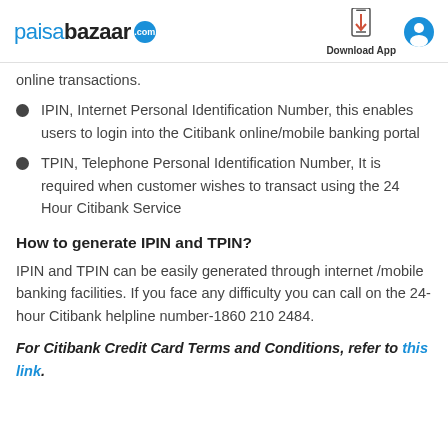paisabazaar.com | Download App
online transactions.
IPIN, Internet Personal Identification Number, this enables users to login into the Citibank online/mobile banking portal
TPIN, Telephone Personal Identification Number, It is required when customer wishes to transact using the 24 Hour Citibank Service
How to generate IPIN and TPIN?
IPIN and TPIN can be easily generated through internet /mobile banking facilities. If you face any difficulty you can call on the 24-hour Citibank helpline number-1860 210 2484.
For Citibank Credit Card Terms and Conditions, refer to this link.